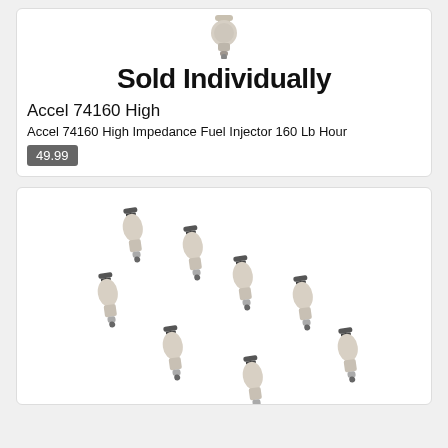[Figure (photo): Single fuel injector shown at top of first product card, with text 'Sold Individually' below it]
Sold Individually
Accel 74160 High
Accel 74160 High Impedance Fuel Injector 160 Lb Hour
49.99
[Figure (photo): Eight fuel injectors arranged diagonally across the second product card]